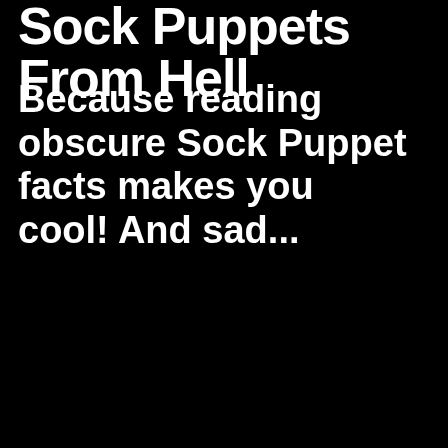Sock Puppets From Hell
Because reading obscure Sock Puppet facts makes you cool! And sad...